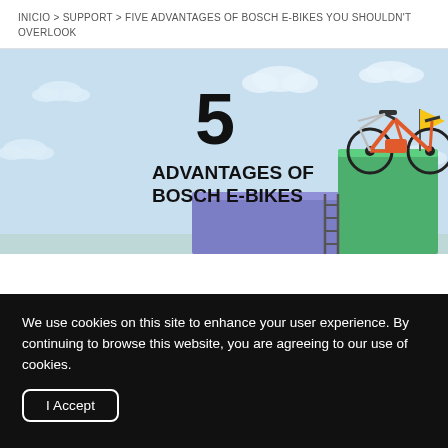INICIO > SUPPORT > FIVE ADVANTAGES OF BOSCH E-BIKES YOU SHOULDN'T OVERLOOK
[Figure (illustration): Promotional illustration showing '5 ADVANTAGES OF BOSCH E-BIKES' text with a red e-bike on a green podium block, with a blue block beside it, clouds in a light blue sky background, and a small ladder and yellow flag.]
We use cookies on this site to enhance your user experience. By continuing to browse this website, you are agreeing to our use of cookies.